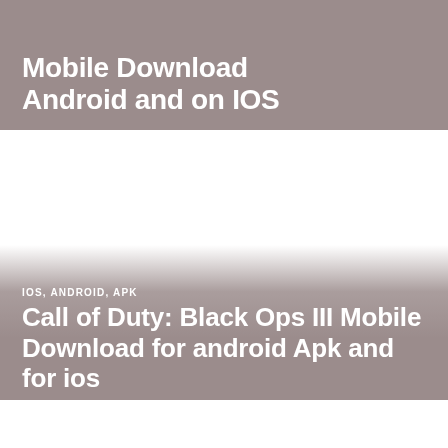Mobile Download Android and on IOS
[Figure (other): White blank area between two content banners]
IOS, ANDROID, APK
Call of Duty: Black Ops III Mobile Download for android Apk and for ios